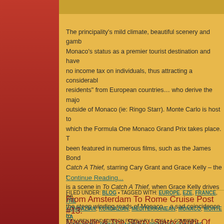The principality's mild climate, beautiful scenery and gamb... Monaco's status as a premier tourist destination and have... no income tax on individuals, thus attracting a considerabl... residents" from European countries... who derive the majo... outside of Monaco (ie: Ringo Starr). Monte Carlo is host to... which the Formula One Monaco Grand Prix takes place. T... been featured in numerous films, such as the James Bond... Catch A Thief, starring Cary Grant and Grace Kelly – the t... is a scene in To Catch A Thief, when Grace Kelly drives he... the steep winding roads of Monaco – a sad coincidence to...
Continue Reading...
FILED UNDER: BLOG • TAGGED WITH: EUROPE, EZE, FRANCE, FRE... KONDAZIAN, KONDAZIAN, MEDITERRANEAN, MONACO, MONTE CA... PENTHOUSE, PRINCE RAINIER III, PRINCESS GRACE OF MONACO, ... TRAVELOGUE
From Amsterdam To Rome Cruise Post #13: Marseille & The Starry, Starry Night Of Van...
BY KAREN KONDAZIAN ON FEBRUARY 8, 2015 • 1 COMMENT